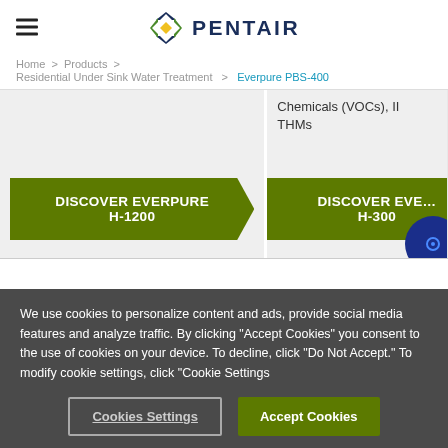PENTAIR
Home > Products > Residential Under Sink Water Treatment > Everpure PBS-400
[Figure (screenshot): Two product card panels: left card shows 'DISCOVER EVERPURE H-1200' green button; right card (partially visible) shows text 'Chemicals (VOCs), II THMs' and 'DISCOVER EVERPURE H-300' green button with a dark blue circular icon partially visible in bottom-right corner.]
We use cookies to personalize content and ads, provide social media features and analyze traffic. By clicking “Accept Cookies” you consent to the use of cookies on your device. To decline, click “Do Not Accept.” To modify cookie settings, click “Cookie Settings
Cookies Settings
Accept Cookies